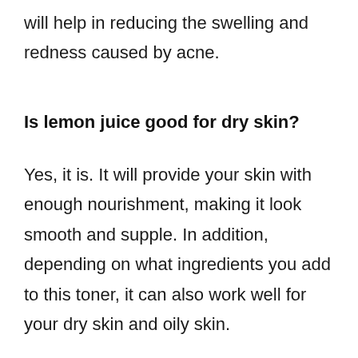will help in reducing the swelling and redness caused by acne.
Is lemon juice good for dry skin?
Yes, it is. It will provide your skin with enough nourishment, making it look smooth and supple. In addition, depending on what ingredients you add to this toner, it can also work well for your dry skin and oily skin.